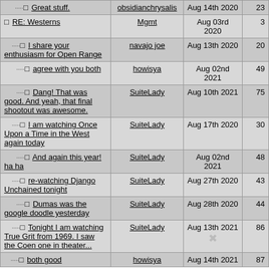| Topic | User | Date | # |
| --- | --- | --- | --- |
| ....□ Great stuff. | obsidianchrysalis | Aug 14th 2020 | 23 |
| □ RE: Westerns | Mgmt | Aug 03rd 2020 | 3 |
| ....□ I share your enthusiasm for Open Range | navajo joe | Aug 13th 2020 | 20 |
| ....□ agree with you both | howisya | Aug 02nd 2021 | 49 |
| ....□ Dang! That was good. And yeah, that final shootout was awesome. | SuiteLady | Aug 10th 2021 | 75 |
| ....□ I am watching Once Upon a Time in the West again today | SuiteLady | Aug 17th 2020 | 30 |
| ....□ And again this year! ha ha | SuiteLady | Aug 02nd 2021 | 48 |
| ....□ re-watching Django Unchained tonight | SuiteLady | Aug 27th 2020 | 43 |
| ....□ Dumas was the google doodle yesterday | SuiteLady | Aug 28th 2020 | 44 |
| ....□ Tonight I am watching True Grit from 1969. I saw the Coen one in theater... | SuiteLady | Aug 13th 2021 | 86 |
| ....□ both good | howisya | Aug 14th 2021 | 87 |